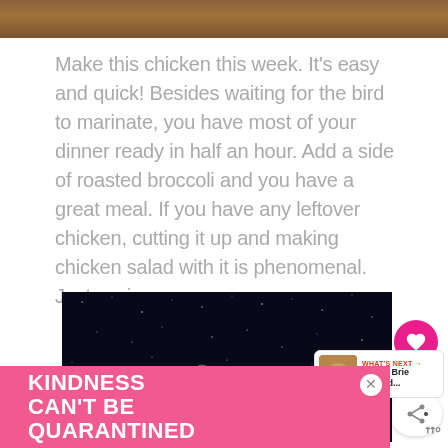[Figure (photo): Top brown wooden surface or food image strip cropped at top of page]
Make this chicken this week. It's easy and quick! Besides waiting for the bird to marinate, you have most of your dinner ready in half an hour. Add a side of roasted broccoli and you have a great meal. If you have any leftover chicken, cutting it up and making chicken salad with it is phenomenal. Just saying.
[Figure (photo): Dark night sky / space background with illustrated bird/animal figure. Video content area.]
WHAT'S NEXT → Baked Brie Stuffed...
[Figure (photo): Advertisement banner: pink background with white text reading KINDNESS CAN'T BE QUARANTINED with a close X button]